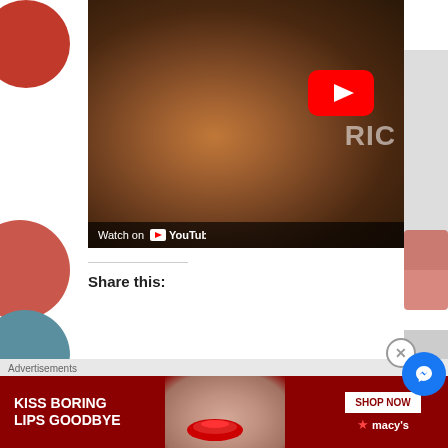[Figure (screenshot): YouTube video embed showing a smiling woman with short dark hair, with a red YouTube play button in the upper right, and a 'Watch on YouTube' bar at the bottom left of the video.]
Share this:
[Figure (screenshot): Advertisement banner: 'KISS BORING LIPS GOODBYE' on dark red background with a woman's face and red lips, 'SHOP NOW' button, and Macy's logo. Messenger chat bubble icon in blue circle. Close (X) button.]